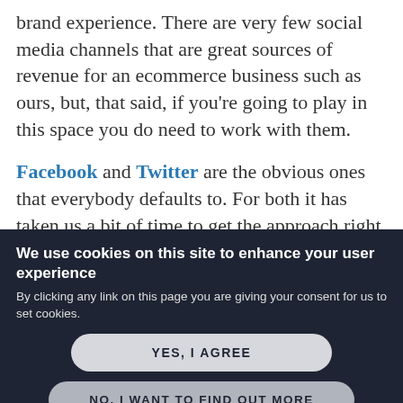brand experience. There are very few social media channels that are great sources of revenue for an ecommerce business such as ours, but, that said, if you're going to play in this space you do need to work with them.
Facebook and Twitter are the obvious ones that everybody defaults to. For both it has taken us a bit of time to get the approach right – and I don't know that we've even got
We use cookies on this site to enhance your user experience
By clicking any link on this page you are giving your consent for us to set cookies.
YES, I AGREE
NO, I WANT TO FIND OUT MORE